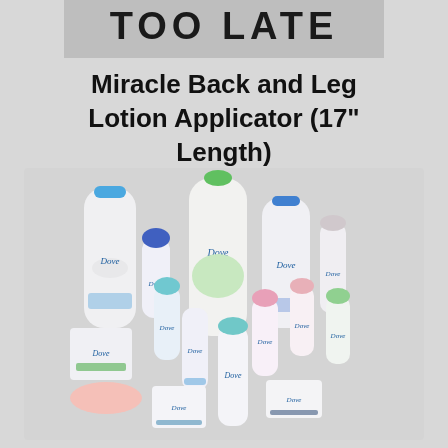TOO LATE
Miracle Back and Leg Lotion Applicator (17" Length)
[Figure (photo): Collection of Dove brand personal care products including body wash bottles, deodorant spray cans, roll-on deodorants, and soap bars arranged in a group on a light grey background.]